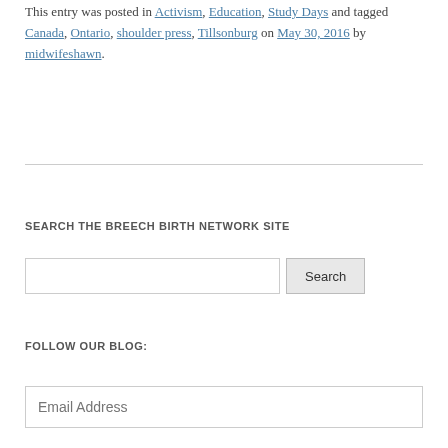This entry was posted in Activism, Education, Study Days and tagged Canada, Ontario, shoulder press, Tillsonburg on May 30, 2016 by midwifeshawn.
SEARCH THE BREECH BIRTH NETWORK SITE
Search
FOLLOW OUR BLOG:
Email Address